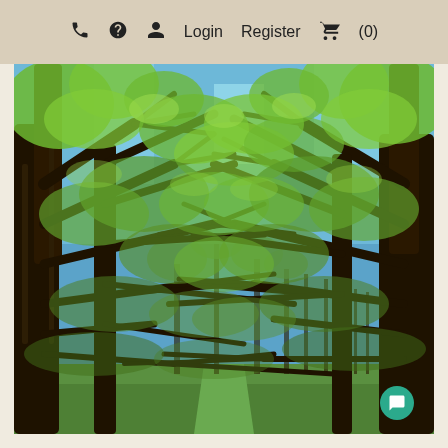☎ ? Login Register 🛒 (0)
[Figure (photo): Photograph of a pecan or walnut orchard with rows of tall trees with dark trunks and bright green spring foliage canopy against a blue sky, viewed from ground level looking down a row.]